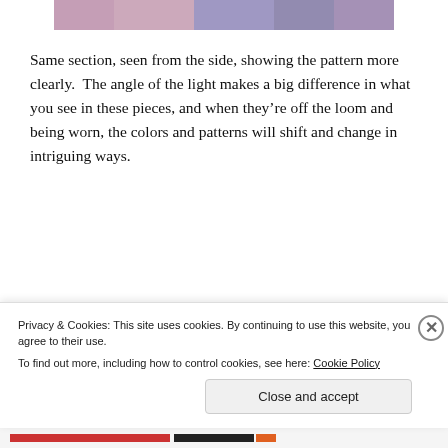[Figure (photo): Partial top view of a woven textile piece with purple, blue and green color pattern]
Same section, seen from the side, showing the pattern more clearly.  The angle of the light makes a big difference in what you see in these pieces, and when they're off the loom and being worn, the colors and patterns will shift and change in intriguing ways.
[Figure (other): Advertisement for Day One Journal app showing person taking photo with phone, text 'Over 150,000 5-star reviews' and Day One Journal logo]
The next section will be displayed in two frames and
Privacy & Cookies: This site uses cookies. By continuing to use this website, you agree to their use.
To find out more, including how to control cookies, see here: Cookie Policy
Close and accept